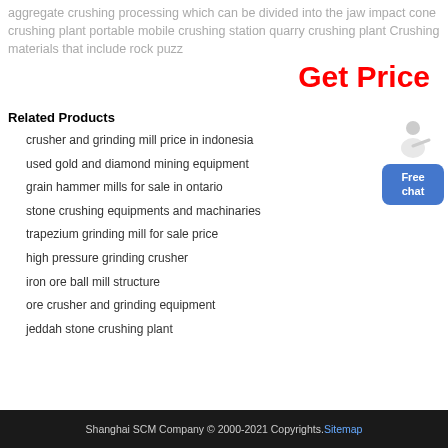aggregate crushing processing which can be divided into the jaw impact cone crushing plant portable mobile crushing station quarry crushing plant Crushing materials that include rock puzz
Get Price
Related Products
crusher and grinding mill price in indonesia
used gold and diamond mining equipment
grain hammer mills for sale in ontario
stone crushing equipments and machinaries
trapezium grinding mill for sale price
high pressure grinding crusher
iron ore ball mill structure
ore crusher and grinding equipment
jeddah stone crushing plant
[Figure (illustration): Customer service representative in white jacket with headset, pointing hand gesture]
Shanghai SCM Company © 2000-2021 Copyrights. Sitemap